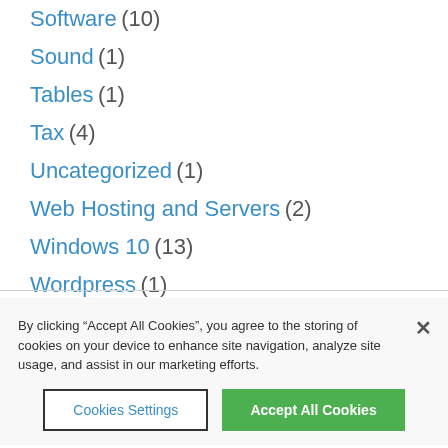Software (10)
Sound (1)
Tables (1)
Tax (4)
Uncategorized (1)
Web Hosting and Servers (2)
Windows 10 (13)
Wordpress (1)
By clicking “Accept All Cookies”, you agree to the storing of cookies on your device to enhance site navigation, analyze site usage, and assist in our marketing efforts.
Cookies Settings | Accept All Cookies